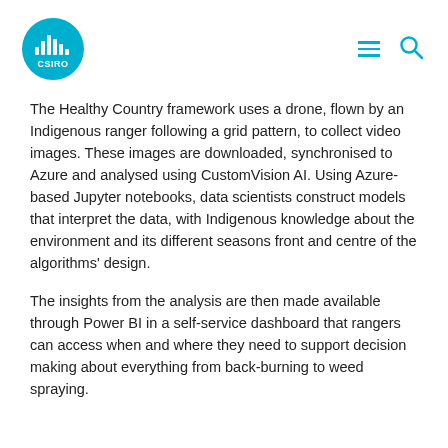CSIRO logo with navigation hamburger menu and search icon
The Healthy Country framework uses a drone, flown by an Indigenous ranger following a grid pattern, to collect video images. These images are downloaded, synchronised to Azure and analysed using CustomVision AI. Using Azure-based Jupyter notebooks, data scientists construct models that interpret the data, with Indigenous knowledge about the environment and its different seasons front and centre of the algorithms' design.
The insights from the analysis are then made available through Power BI in a self-service dashboard that rangers can access when and where they need to support decision making about everything from back-burning to weed spraying.